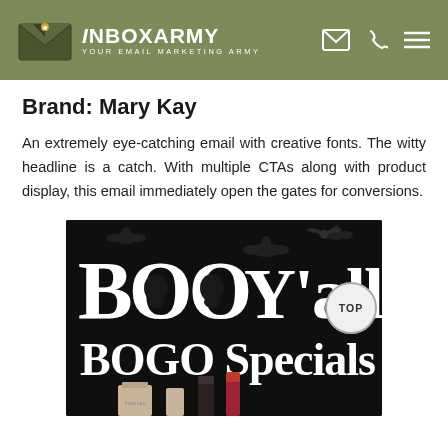InboxArmy — Your Email Marketing Army
Brand: Mary Kay
An extremely eye-catching email with creative fonts. The witty headline is a catch. With multiple CTAs along with product display, this email immediately open the gates for conversions.
[Figure (screenshot): Mary Kay Halloween email preview showing 'BOO Y'all BOGO Specials' in white text on a black background with bats and ghost motif, a TOP badge circle on the right, and product images at the bottom.]